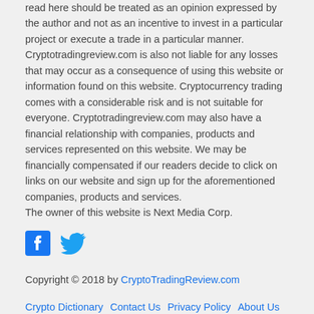read here should be treated as an opinion expressed by the author and not as an incentive to invest in a particular project or execute a trade in a particular manner. Cryptotradingreview.com is also not liable for any losses that may occur as a consequence of using this website or information found on this website. Cryptocurrency trading comes with a considerable risk and is not suitable for everyone. Cryptotradingreview.com may also have a financial relationship with companies, products and services represented on this website. We may be financially compensated if our readers decide to click on links on our website and sign up for the aforementioned companies, products and services. The owner of this website is Next Media Corp.
[Figure (other): Facebook and Twitter social media icons in blue]
Copyright © 2018 by CryptoTradingReview.com
Crypto Dictionary  Contact Us  Privacy Policy  About Us  Write For Us  Sitemap